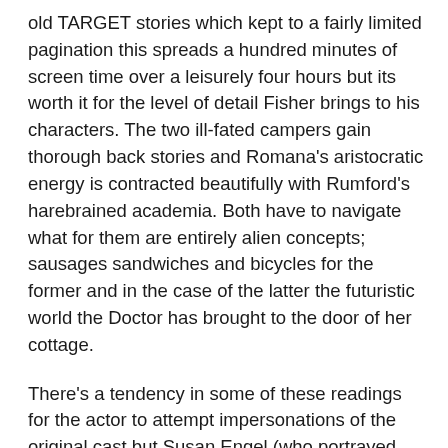old TARGET stories which kept to a fairly limited pagination this spreads a hundred minutes of screen time over a leisurely four hours but its worth it for the level of detail Fisher brings to his characters. The two ill-fated campers gain thorough back stories and Romana's aristocratic energy is contracted beautifully with Rumford's harebrained academia. Both have to navigate what for them are entirely alien concepts; sausages sandwiches and bicycles for the former and in the case of the latter the futuristic world the Doctor has brought to the door of her cottage.
There's a tendency in some of these readings for the actor to attempt impersonations of the original cast but Susan Engel (who portrayed Vivien in the original television version) largely reads much of this in her own voice, apart from moments when its electronically treated, which gives it the feeling of a sinister bedtime story. But it's impossible for the mannerisms of the actors not to break through such as the grin which always breaks across Baker's voice during sarcasm and she clearly has great memories of working with Beatrix Lehmann who is also lovingly resurrected. Once again, John Leeson is called on to recreate the voice of K9